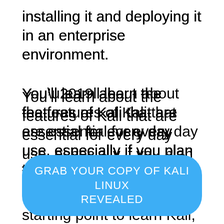installing it and deploying it in an enterprise environment.
You’ll learn about the features of Kali that are essential for every day use, especially if you plan to use Kali as your OS.
If you’re looking for a good starting point to learn Kali, we think Kali Linux Revealed might be the way to go.
GRAB YOUR COPY OF KALI LINUX REVEALED